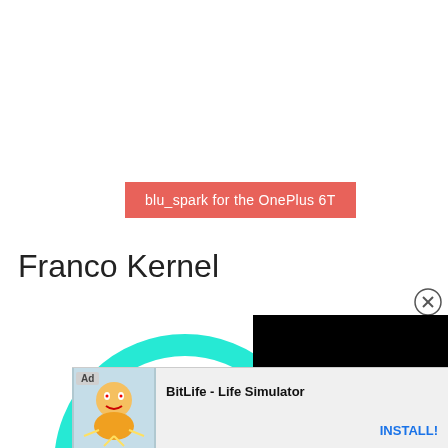blu_spark for the OnePlus 6T
Franco Kernel
[Figure (screenshot): A tron-style circuit board graphic (circular, cyan/teal on dark) visible in lower left, partially cut off. A large black rectangle overlaid on right portion suggesting a video or ad overlay.]
[Figure (screenshot): Ad banner at bottom: 'Ad' label, cartoon character image, text 'BitLife - Life Simulator', and 'INSTALL!' button in blue.]